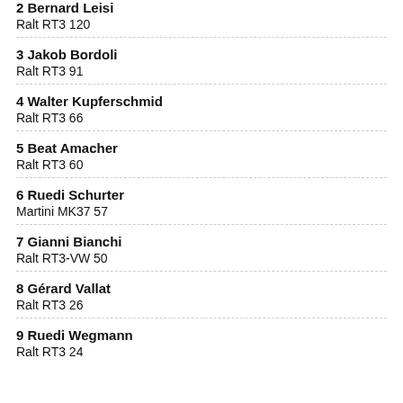2 Bernard Leisi
Ralt RT3 120
3 Jakob Bordoli
Ralt RT3 91
4 Walter Kupferschmid
Ralt RT3 66
5 Beat Amacher
Ralt RT3 60
6 Ruedi Schurter
Martini MK37 57
7 Gianni Bianchi
Ralt RT3-VW 50
8 Gérard Vallat
Ralt RT3 26
9 Ruedi Wegmann
Ralt RT3 24